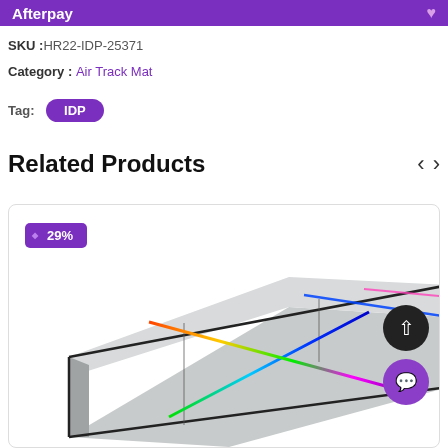Afterpay
SKU :HR22-IDP-25371
Category : Air Track Mat
Tag: IDP
Related Products
[Figure (photo): Air track gymnastics mat with LED rainbow light strips, viewed at an angle, with a 29% discount badge, scroll-up button, and chat button overlaid.]